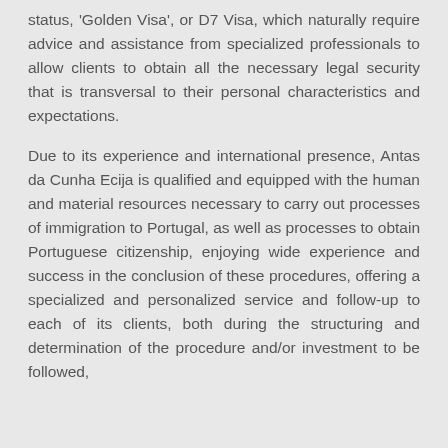status, 'Golden Visa', or D7 Visa, which naturally require advice and assistance from specialized professionals to allow clients to obtain all the necessary legal security that is transversal to their personal characteristics and expectations.
Due to its experience and international presence, Antas da Cunha Ecija is qualified and equipped with the human and material resources necessary to carry out processes of immigration to Portugal, as well as processes to obtain Portuguese citizenship, enjoying wide experience and success in the conclusion of these procedures, offering a specialized and personalized service and follow-up to each of its clients, both during the structuring and determination of the procedure and/or investment to be followed,